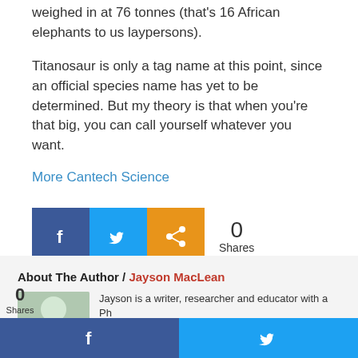weighed in at 76 tonnes (that's 16 African elephants to us laypersons).
Titanosaur is only a tag name at this point, since an official species name has yet to be determined. But my theory is that when you're that big, you can call yourself whatever you want.
More Cantech Science
[Figure (infographic): Social share buttons: Facebook (blue), Twitter (blue), Share (orange), showing 0 Shares]
About The Author / Jayson MacLean
Jayson is a writer, researcher and educator with a Ph... Ot...
[Figure (infographic): Bottom bar with Facebook and Twitter share buttons in dark blue and light blue]